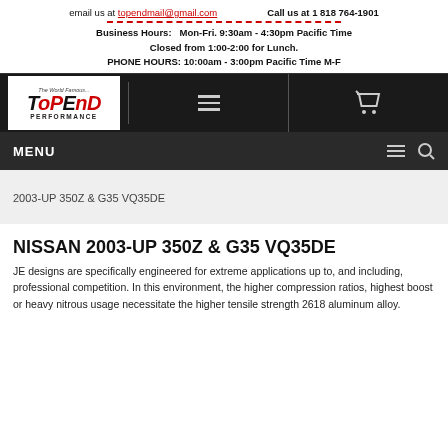email us at topendmail@gmail.com   Call us at 1 818 764-1901
Business Hours:   Mon-Fri. 9:30am - 4:30pm Pacific Time
Closed from 1:00-2:00 for Lunch.
PHONE HOURS: 10:00am - 3:00pm Pacific Time M-F
[Figure (logo): Top End Performance logo — red and white stylized text on dark background]
MENU
2003-UP 350Z & G35 VQ35DE
NISSAN 2003-UP 350Z & G35 VQ35DE
JE designs are specifically engineered for extreme applications up to, and including, professional competition. In this environment, the higher compression ratios, highest boost or heavy nitrous usage necessitate the higher tensile strength 2618 aluminum alloy.